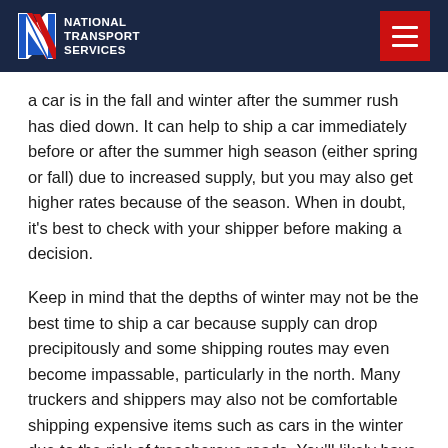NATIONAL TRANSPORT SERVICES
a car is in the fall and winter after the summer rush has died down. It can help to ship a car immediately before or after the summer high season (either spring or fall) due to increased supply, but you may also get higher rates because of the season. When in doubt, it’s best to check with your shipper before making a decision.
Keep in mind that the depths of winter may not be the best time to ship a car because supply can drop precipitously and some shipping routes may even become impassable, particularly in the north. Many truckers and shippers may also not be comfortable shipping expensive items such as cars in the winter due to the risk of treacherous roads. You’ll likely have more shipping dates open due to the decrease in demand, but you’ll have to account for the other challenges such as less supply and